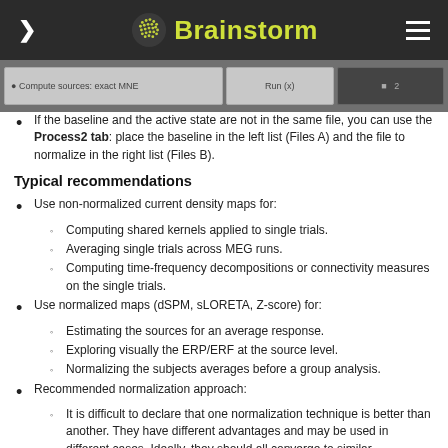Brainstorm
[Figure (screenshot): Screenshot strip showing Brainstorm interface panels]
If the baseline and the active state are not in the same file, you can use the Process2 tab: place the baseline in the left list (Files A) and the file to normalize in the right list (Files B).
Typical recommendations
Use non-normalized current density maps for:
Computing shared kernels applied to single trials.
Averaging single trials across MEG runs.
Computing time-frequency decompositions or connectivity measures on the single trials.
Use normalized maps (dSPM, sLORETA, Z-score) for:
Estimating the sources for an average response.
Exploring visually the ERP/ERF at the source level.
Normalizing the subjects averages before a group analysis.
Recommended normalization approach:
It is difficult to declare that one normalization technique is better than another. They have different advantages and may be used in different cases. Ideally, they should all converge to similar observations. If you can results with